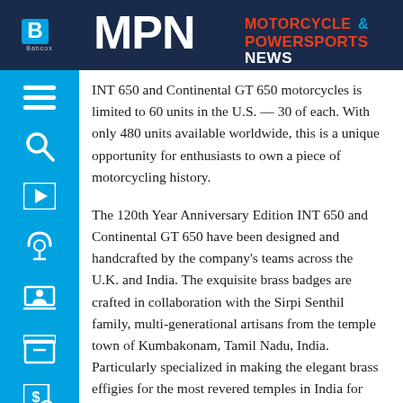MPN Motorcycle & Powersports News
INT 650 and Continental GT 650 motorcycles is limited to 60 units in the U.S. — 30 of each. With only 480 units available worldwide, this is a unique opportunity for enthusiasts to own a piece of motorcycling history.
The 120th Year Anniversary Edition INT 650 and Continental GT 650 have been designed and handcrafted by the company's teams across the U.K. and India. The exquisite brass badges are crafted in collaboration with the Sirpi Senthil family, multi-generational artisans from the temple town of Kumbakonam, Tamil Nadu, India. Particularly specialized in making the elegant brass effigies for the most revered temples in India for centuries, this is the first time that these